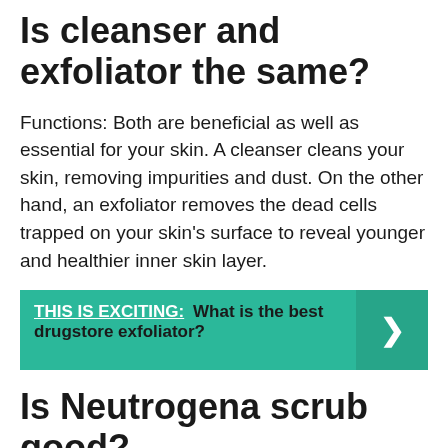Is cleanser and exfoliator the same?
Functions: Both are beneficial as well as essential for your skin. A cleanser cleans your skin, removing impurities and dust. On the other hand, an exfoliator removes the dead cells trapped on your skin’s surface to reveal younger and healthier inner skin layer.
THIS IS EXCITING:  What is the best drugstore exfoliator?
Is Neutrogena scrub good?
Neutrogena Deep Clean Gentle Scrub earned 3 out of 5 stars from me. Overall, I found it to